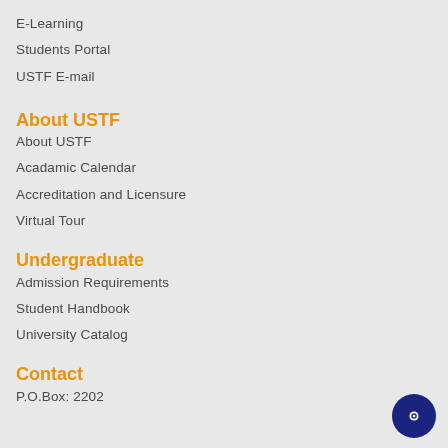E-Learning
Students Portal
USTF E-mail
About USTF
About USTF
Acadamic Calendar
Accreditation and Licensure
Virtual Tour
Undergraduate
Admission Requirements
Student Handbook
University Catalog
Contact
P.O.Box: 2202